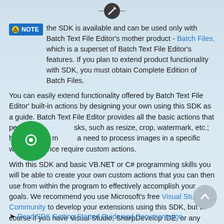[Figure (illustration): Dark circular icon with white pencil/edit symbol at the top of the page]
NOTE the SDK is available and can be used only with Batch Text File Editor's mother product - Batch Files, which is a superset of Batch Text File Editor's features. If you plan to extend product functionality with SDK, you must obtain Complete Edition of Batch Files.
You can easily extend functionality offered by Batch Text File Editor' built-in actions by designing your own using this SDK as a guide. Batch Text File Editor provides all the basic actions that perform general tasks, such as resize, crop, watermark, etc.; however you may have a need to process images in a specific way, and hence require custom actions.
With this SDK and basic VB.NET or C# programming skills you will be able to create your own custom actions that you can then use from within the program to effectively accomplish your goals. We recommend you use Microsoft's free Visual Studio Community to develop your extensions using this SDK, but of course if you have Visual Studio, SharpDevelop IDE, or any other IDE capable of producing .NET 3.5 libraries, you can use it as well.
Read SDK Getting Started Guide and Documentation